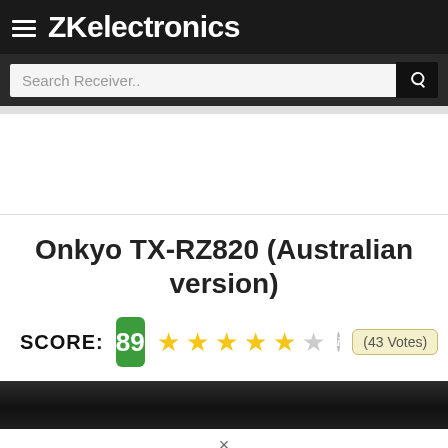ZKelectronics
Search Receiver..
Onkyo TX-RZ820 (Australian version)
SCORE: 89 ★★★★½ (43 Votes)